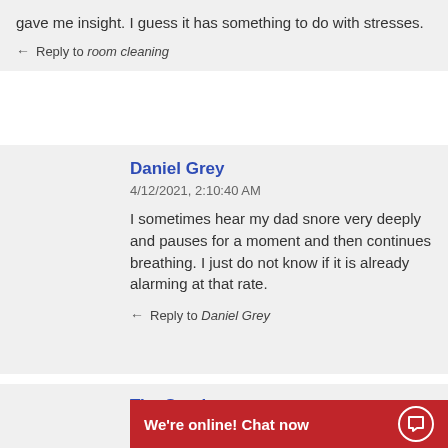gave me insight. I guess it has something to do with stresses.
← Reply to room cleaning
Daniel Grey
4/12/2021, 2:10:40 AM
I sometimes hear my dad snore very deeply and pauses for a moment and then continues breathing. I just do not know if it is already alarming at that rate.
← Reply to Daniel Grey
Tim Stephenson
We're online! Chat now